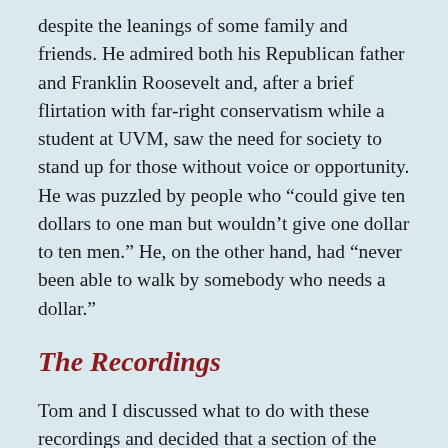despite the leanings of some family and friends. He admired both his Republican father and Franklin Roosevelt and, after a brief flirtation with far-right conservatism while a student at UVM, saw the need for society to stand up for those without voice or opportunity. He was puzzled by people who “could give ten dollars to one man but wouldn’t give one dollar to ten men.” He, on the other hand, had “never been able to walk by somebody who needs a dollar.”
The Recordings
Tom and I discussed what to do with these recordings and decided that a section of the Barre Historical Society’s Old Labor Hall Web